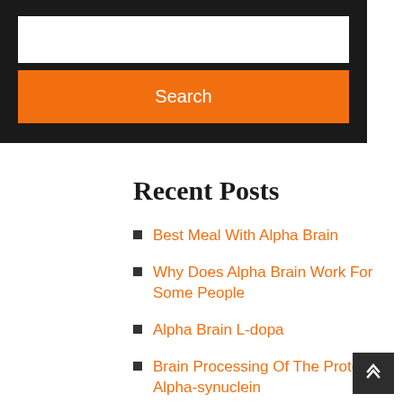[Figure (screenshot): Search widget with white text input box and orange Search button on dark background]
Recent Posts
Best Meal With Alpha Brain
Why Does Alpha Brain Work For Some People
Alpha Brain L-dopa
Brain Processing Of The Protein Alpha-synuclein
Alpha Brain Cells I Can Really Look Up You Guys